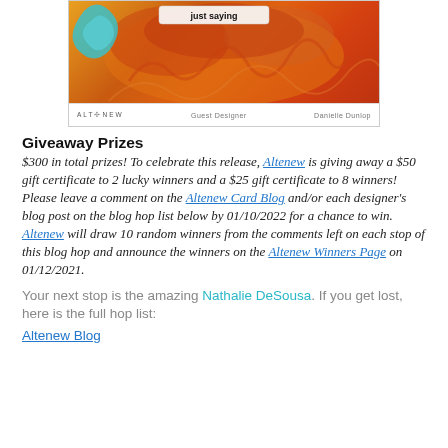[Figure (photo): Craft card image with orange and warm-toned floral/abstract background, text 'just saying' visible at top. Footer bar shows Altenew logo, 'Guest Designer', and 'Danielle Dunlop'.]
Giveaway Prizes
$300 in total prizes! To celebrate this release, Altenew is giving away a $50 gift certificate to 2 lucky winners and a $25 gift certificate to 8 winners! Please leave a comment on the Altenew Card Blog and/or each designer's blog post on the blog hop list below by 01/10/2022 for a chance to win. Altenew will draw 10 random winners from the comments left on each stop of this blog hop and announce the winners on the Altenew Winners Page on 01/12/2021.
Your next stop is the amazing Nathalie DeSousa. If you get lost, here is the full hop list:
Altenew Blog